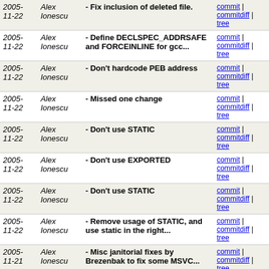| Date | Author | Message | Links |
| --- | --- | --- | --- |
| 2005-11-22 | Alex Ionescu | - Fix inclusion of deleted file. | commit | commitdiff | tree |
| 2005-11-22 | Alex Ionescu | - Define DECLSPEC_ADDRSAFE and FORCEINLINE for gcc... | commit | commitdiff | tree |
| 2005-11-22 | Alex Ionescu | - Don't hardcode PEB address | commit | commitdiff | tree |
| 2005-11-22 | Alex Ionescu | - Missed one change | commit | commitdiff | tree |
| 2005-11-22 | Alex Ionescu | - Don't use STATIC | commit | commitdiff | tree |
| 2005-11-22 | Alex Ionescu | - Don't use EXPORTED | commit | commitdiff | tree |
| 2005-11-22 | Alex Ionescu | - Don't use STATIC | commit | commitdiff | tree |
| 2005-11-22 | Alex Ionescu | - Remove usage of STATIC, and use static in the right... | commit | commitdiff | tree |
| 2005-11-21 | Alex Ionescu | - Misc janitorial fixes by Brezenbak to fix some MSVC... | commit | commitdiff | tree |
| 2005-11-20 | Alex Ionescu | Fix really stupid typo (thanks Hartmut) | commit | commitdiff | tree |
| 2005-11-20 | Alex Ionescu | Beware of the alt+fs slippery finger | commit | commitdiff | tree |
| 2005-11-20 | Alex Ionescu | - Update NDK with proper (when possible) RTL structure... | commit | commitdiff | tree |
| 2005-11-20 | Alex Ionescu | - Remove RosSymInfo hack from LDR_DATA_TABLE_ENTRY... | commit | commitdiff | tree |
| 2005-11-20 | Alex Ionescu | - Add msvc compatible version of | commit | commitdiff | tree |